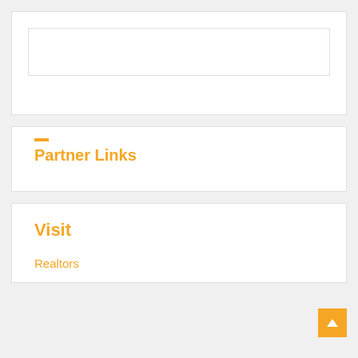[Figure (other): A white box with an inner rectangular border element (search or input area)]
Partner Links
Visit
Realtors